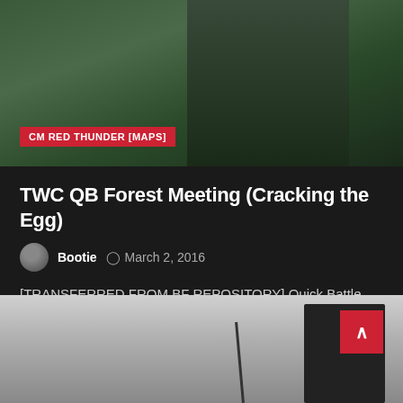[Figure (photo): Military scene with soldier running through a field with tall grass, dark foliage background]
CM RED THUNDER [MAPS]
TWC QB Forest Meeting (Cracking the Egg)
Bootie   March 2, 2016
[TRANSFERRED FROM BF REPOSITORY] Quick Battle map based on the map created for the…
Read More
[Figure (photo): Black and white photo of military personnel with radio antenna equipment]